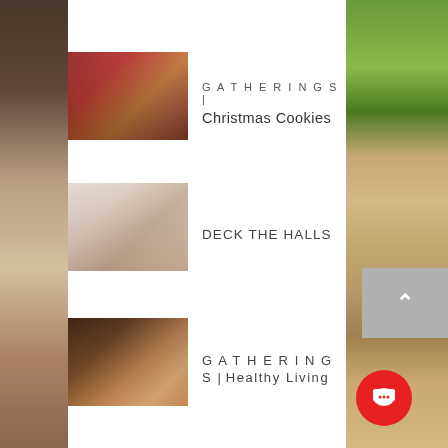[Figure (photo): Left edge: vertical photo strip showing dark warm-toned interior scene]
[Figure (photo): Thumbnail of Christmas gathering/cookies scene with reddish indoor lighting]
GATHERINGS | Christmas Cookies
[Figure (photo): Thumbnail of home interior room with light walls and doorway]
DECK THE HALLS
[Figure (photo): Thumbnail of woman in kitchen wearing white shirt, healthy living theme]
GATHERINGS | Healthy Living
[Figure (photo): Right edge: vertical photo of woman at outdoor dining table with greenery]
[Figure (other): Back to top button: grey square with upward chevron arrow]
[Figure (other): Red circular chat/message button with speech bubble icon]